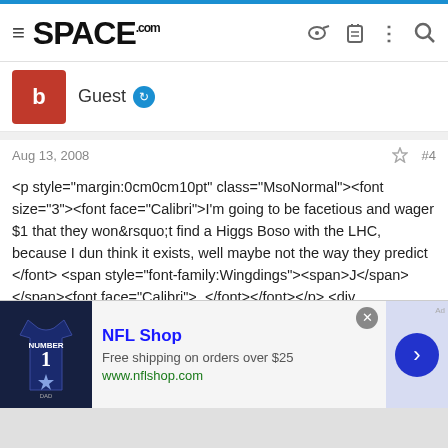SPACE.com
Guest
Aug 13, 2008  #4
<p style="margin:0cm0cm10pt" class="MsoNormal"><font size="3"><font face="Calibri">I'm going to be facetious and wager $1 that they won&rsquo;t find a Higgs Boso with the LHC, because I dun think it exists, well maybe not the way they predict </font><span style="font-family:Wingdings"><span>J</span></span><font face="Calibri">. </font></font></p> <div class="Discussion_UserSignature"> <p align="center"><font color="#808080">---------------- </font></p><p align="center"><font size="1" color="#808080"><em>Let me start out with the standard disclaimer... I am an idiot. I know almost nothing. I haven't taken
[Figure (screenshot): NFL Shop advertisement with jersey image, title, free shipping offer, and navigation arrow]